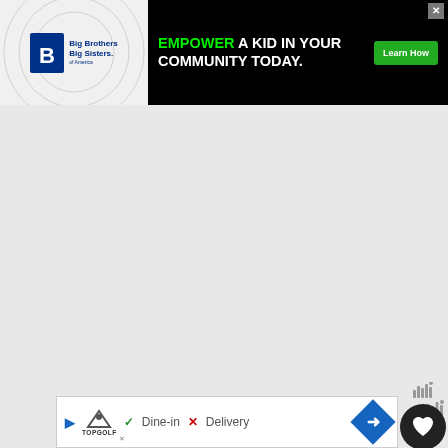[Figure (screenshot): Big Brothers Big Sisters advertisement banner: 'EMPOWER A KID IN YOUR COMMUNITY TODAY.' with Learn How button on black background]
[Figure (screenshot): Large gray advertisement placeholder area]
It's unlikely that you've lived this long without hearing about French onion soup. And no, not just because it's absolutely delicious. But because it's fairly mainstream considering it is on the menu for lots of large franchise re...
[Figure (screenshot): WHAT'S NEXT: French Friday - American... widget with food image thumbnail]
[Figure (screenshot): Topgolf bottom advertisement: Dine-in check, Delivery X, navigation diamond icon]